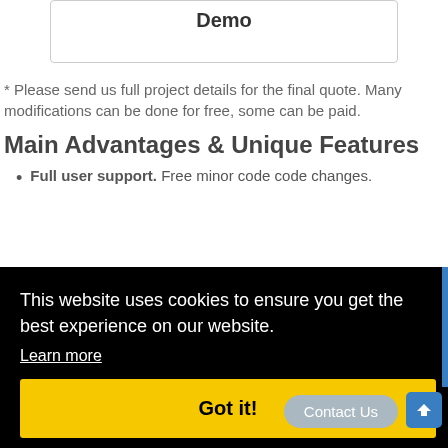Demo
* Please send us full project details for the final quote. Many modifications can be done for free, some can be paid.
Main Advantages & Unique Features
Full user support. Free minor code code changes.
This website uses cookies to ensure you get the best experience on our website.
Learn more
Got it!
Powerful Ad Payment System. Allows you to.